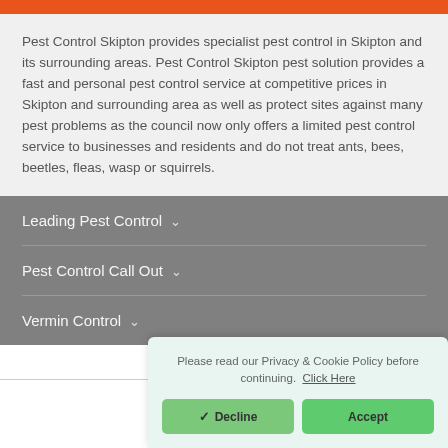Pest Control Skipton provides specialist pest control in Skipton and its surrounding areas. Pest Control Skipton pest solution provides a fast and personal pest control service at competitive prices in Skipton and surrounding area as well as protect sites against many pest problems as the council now only offers a limited pest control service to businesses and residents and do not treat ants, bees, beetles, fleas, wasp or squirrels.
Leading Pest Control ∨
Pest Control Call Out ∨
Vermin Control ∨
Please read our Privacy & Cookie Policy before continuing. Click Here